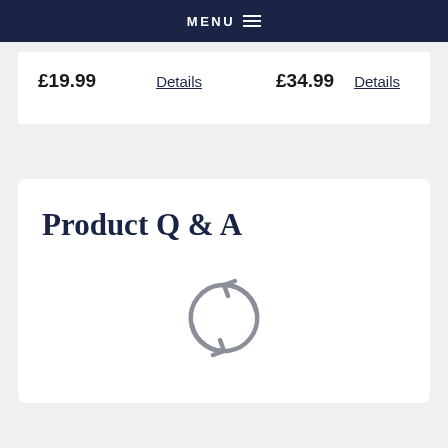MENU
£19.99   Details   £34.99   Details
Product Q & A
[Figure (other): Loading spinner icon - two circular arrows forming a refresh/loading symbol in gray]